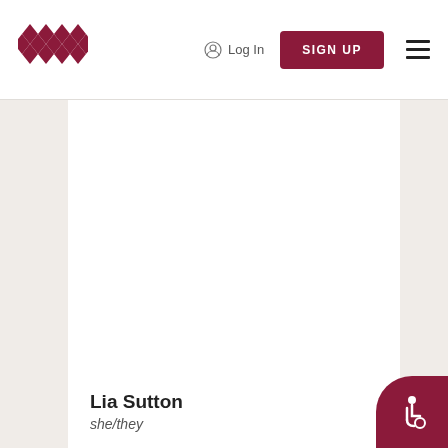[Figure (logo): Diamond lattice / weave logo in dark red/crimson color, composed of overlapping diamond shapes]
Log In
SIGN UP
[Figure (illustration): Hamburger menu icon (three horizontal lines)]
[Figure (photo): Large white/empty profile photo area in center column]
Lia Sutton
she/they
[Figure (illustration): Accessibility icon (wheelchair user) in white on dark red circular button in bottom right corner]